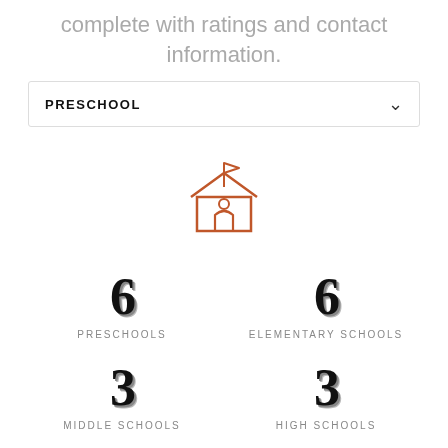complete with ratings and contact information.
[Figure (other): Dropdown selector showing PRESCHOOL with a chevron arrow]
[Figure (illustration): Outline icon of a school building with a flag on top, rendered in orange/brown color]
6 PRESCHOOLS
6 ELEMENTARY SCHOOLS
3 MIDDLE SCHOOLS
3 HIGH SCHOOLS